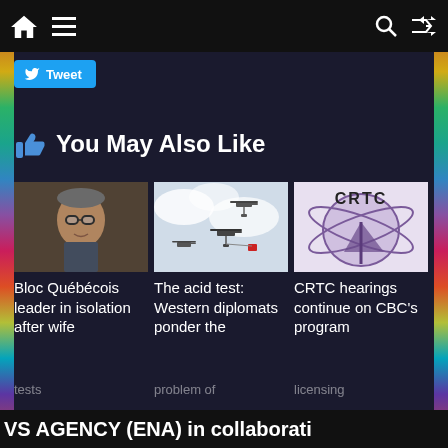Navigation bar with home, menu, search, and shuffle icons
[Figure (screenshot): Tweet button with Twitter bird icon]
👍 You May Also Like
[Figure (photo): Photo of Bloc Québécois leader, a man with glasses]
Bloc Québécois leader in isolation after wife
[Figure (photo): Helicopters flying in sky with small red object]
The acid test: Western diplomats ponder the problem of
[Figure (logo): CRTC logo - satellite dish with globe and CRTC text]
CRTC hearings continue on CBC's program licensing
VS AGENCY (ENA) in collaborati